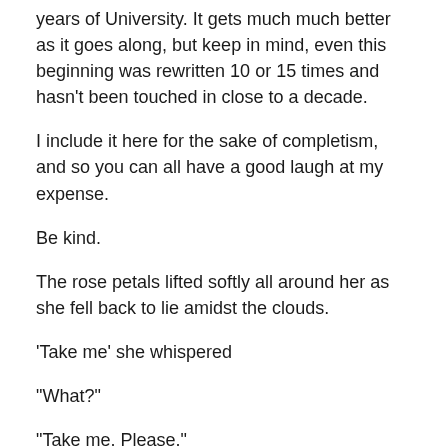years of University. It gets much much better as it goes along, but keep in mind, even this beginning was rewritten 10 or 15 times and hasn't been touched in close to a decade.
I include it here for the sake of completism, and so you can all have a good laugh at my expense.
Be kind.
The rose petals lifted softly all around her as she fell back to lie amidst the clouds.
‘Take me’ she whispered
“What?”
“Take me. Please.”